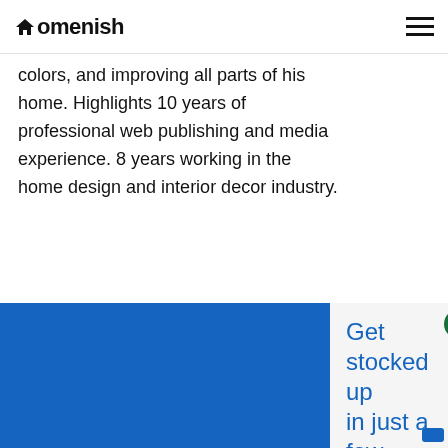Homenish
colors, and improving all parts of his home. Highlights 10 years of professional web publishing and media experience. 8 years working in the home design and interior decor industry.
You May Also Like
[Figure (other): Advertisement banner: 'Get stocked up in just a few clicks. No markups or hidden fees. Swipe up to expand']